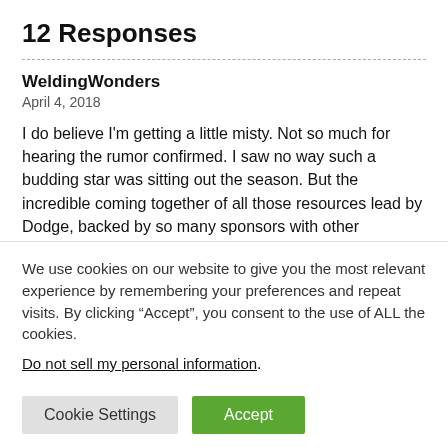12 Responses
WeldingWonders
April 4, 2018
I do believe I'm getting a little misty. Not so much for hearing the rumor confirmed. I saw no way such a budding star was sitting out the season. But the incredible coming together of all those resources lead by Dodge, backed by so many sponsors with other commitments and supported by my favorite Rob Fuller. And in an LFR as was originally intended.
Could be dicey at first. Who knows if they have the right power
We use cookies on our website to give you the most relevant experience by remembering your preferences and repeat visits. By clicking “Accept”, you consent to the use of ALL the cookies.
Do not sell my personal information.